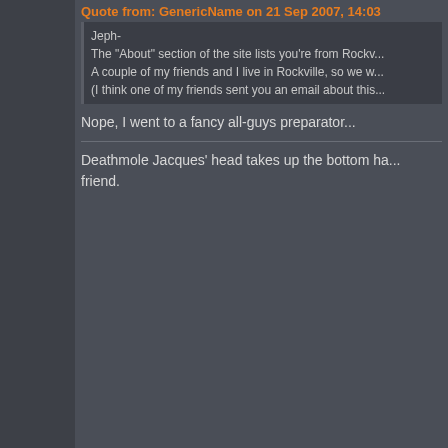Quote from: GenericName on 21 Sep 2007, 14:03
Jeph-
The "About" section of the site lists you're from Rockv...
A couple of my friends and I live in Rockville, so we w...
(I think one of my friends sent you an email about this...
Nope, I went to a fancy all-guys preparator...
Deathmole Jacques' head takes up the bottom ha... friend.
bryanthelion
Beyond Thunderdome
Offline
Posts: 581
[Figure (photo): Black and white illustration of a screaming monster/demon face]
I'm a lion, and I'm flyin'.
Re: The Ask Jeph thread
« Reply #667 on: 22 Sep 2007, 15:43 »
His old hair was nice... But I'd have to agre... sex.
"Cause I might be a werewolf...but why would an i...